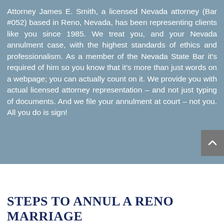Attorney James E. Smith, a licensed Nevada attorney (Bar #052) based in Reno, Nevada, has been representing clients like you since 1985. We treat you, and your Nevada annulment case, with the highest standards of ethics and professionalism. As a member of the Nevada State Bar it's required of him so you know that it's more than just words on a webpage; you can actually count on it. We provide you with actual licensed attorney representation – and not just typing of documents. And we file your annulment at court – not you. All you do is sign!
STEPS TO ANNUL A  RENO MARRIAGE